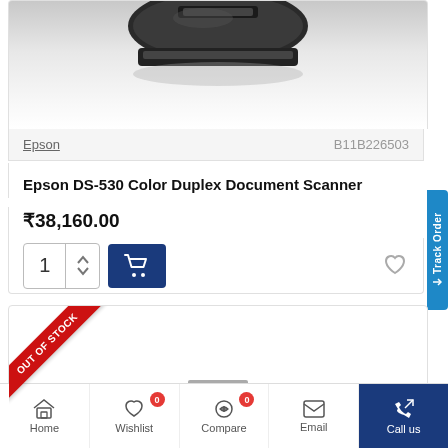[Figure (photo): Epson DS-530 document scanner product image, partially visible at top]
Epson   B11B226503
Epson DS-530 Color Duplex Document Scanner
₹38,160.00
[Figure (screenshot): Quantity selector showing 1, Add to Cart button (blue with cart icon), and heart/wishlist icon]
[Figure (screenshot): Second product card with OUT OF STOCK red diagonal ribbon banner]
Home   Wishlist 0   Compare 0   Email   Call us